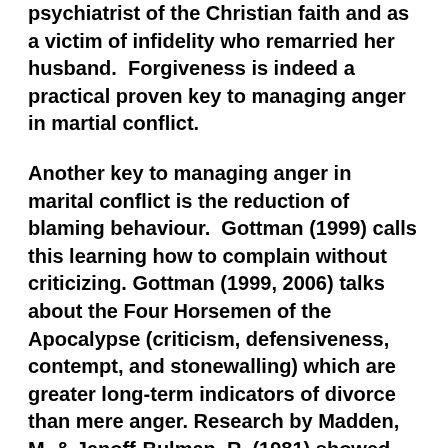psychiatrist of the Christian faith and as a victim of infidelity who remarried her husband. Forgiveness is indeed a practical proven key to managing anger in martial conflict.
Another key to managing anger in marital conflict is the reduction of blaming behaviour. Gottman (1999) calls this learning how to complain without criticizing. Gottman (1999, 2006) talks about the Four Horsemen of the Apocalypse (criticism, defensiveness, contempt, and stonewalling) which are greater long-term indicators of divorce than mere anger. Research by Madden, M. & Janoff-Bulman, R. (1981) showed that blaming one's spouse for marital conflict is negatively associated with marital satisfaction. Couples that habitually blame one another are some of the most difficult to help.